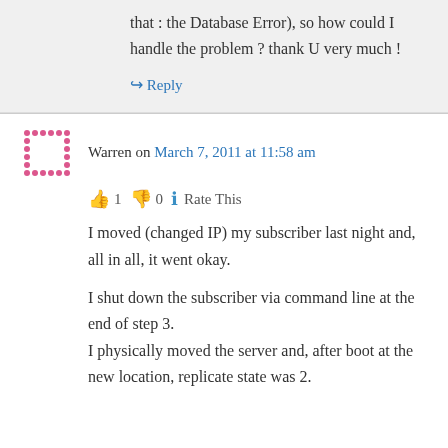that : the Database Error), so how could I handle the problem ? thank U very much !
↪ Reply
Warren on March 7, 2011 at 11:58 am
👍 1 👎 0 ℹ Rate This
I moved (changed IP) my subscriber last night and, all in all, it went okay.
I shut down the subscriber via command line at the end of step 3.
I physically moved the server and, after boot at the new location, replicate state was 2.